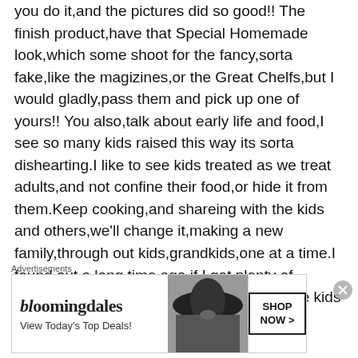you do it,and the pictures did so good!! The finish product,have that Special Homemade look,which some shoot for the fancy,sorta fake,like the magizines,or the Great Chelfs,but I would gladly,pass them and pick up one of yours!! You also,talk about early life and food,I see so many kids raised this way its sorta dishearting.I like to see kids treated as we treat adults,and not confine their food,or hide it from them.Keep cooking,and shareing with the kids and others,we'll change it,making a new family,through out kids,grandkids,one at a time.I found out a long time ago,if I got plenty of candy,fresh fruit and quality food around the kids
Advertisements
[Figure (other): Bloomingdale's advertisement banner showing logo, 'View Today's Top Deals!' tagline, a woman wearing a large brim hat, and a 'SHOP NOW >' call-to-action button.]